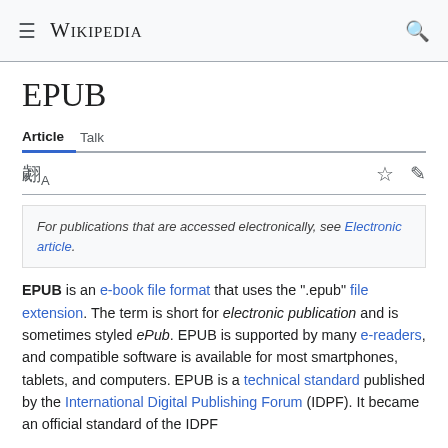≡ Wikipedia 🔍
EPUB
Article   Talk
🌐A ☆ ✏
For publications that are accessed electronically, see Electronic article.
EPUB is an e-book file format that uses the ".epub" file extension. The term is short for electronic publication and is sometimes styled ePub. EPUB is supported by many e-readers, and compatible software is available for most smartphones, tablets, and computers. EPUB is a technical standard published by the International Digital Publishing Forum (IDPF). It became an official standard of the IDPF